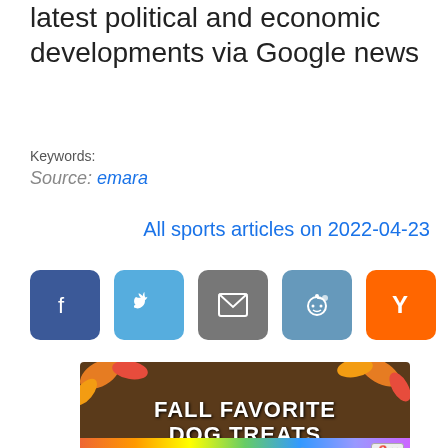latest political and economic developments via Google news
Keywords:
Source: emara
All sports articles on 2022-04-23
[Figure (infographic): Social sharing buttons: Facebook (blue), Twitter (light blue), Email (gray), Reddit (blue-gray), Hacker News Y (orange)]
[Figure (photo): Advertisement banner: Fall Favorite Dog Treats on dark wood background with autumn leaves, Purina branding. Close X button. BitLife ad bar at bottom with rainbow gradient.]